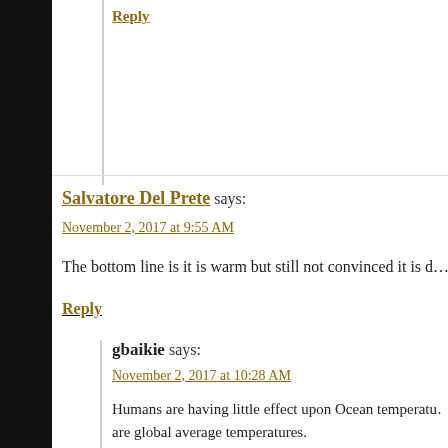Reply
Salvatore Del Prete says:
November 2, 2017 at 9:55 AM
The bottom line is it is warm but still not convinced it is d…
Reply
gbaikie says:
November 2, 2017 at 10:28 AM
Humans are having little effect upon Ocean temperatu… are global average temperatures.
But we are recover from the cooler period of the Little… cooler ocean temperatures and had periods of sea lev… last century we not had sea levels lowering and continu…